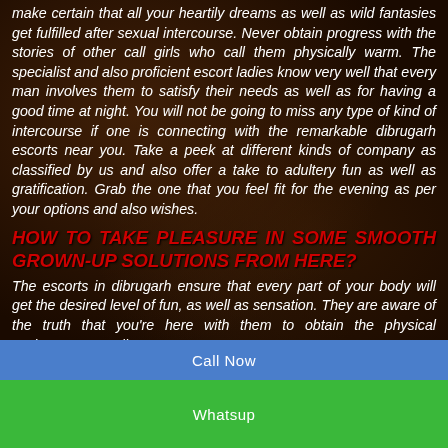make certain that all your heartily dreams as well as wild fantasies get fulfilled after sexual intercourse. Never obtain progress with the stories of other call girls who call them physically warm. The specialist and also proficient escort ladies know very well that every man involves them to satisfy their needs as well as for having a good time at night. You will not be going to miss any type of kind of intercourse if one is connecting with the remarkable dibrugarh escorts near you. Take a peek at different kinds of company as classified by us and also offer a take to adultery fun as well as gratification. Grab the one that you feel fit for the evening as per your options and also wishes.
HOW TO TAKE PLEASURE IN SOME SMOOTH GROWN-UP SOLUTIONS FROM HERE?
The escorts in dibrugarh ensure that every part of your body will get the desired level of fun, as well as sensation. They are aware of the truth that you're here with them to obtain the physical excitement as well as
Call Now
Whatsup